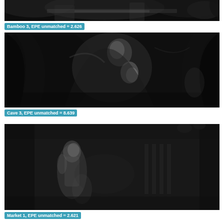[Figure (photo): Grayscale rendered scene - Bamboo 3 (partially cropped at top)]
Bamboo 3, EPE unmatched = 2.626
[Figure (photo): Grayscale rendered scene - Cave 3 with dark figures and flowing shapes]
Cave 3, EPE unmatched = 8.639
[Figure (photo): Grayscale rendered scene - Market 1 with figures in a dark interior setting]
Market 1, EPE unmatched = 2.621